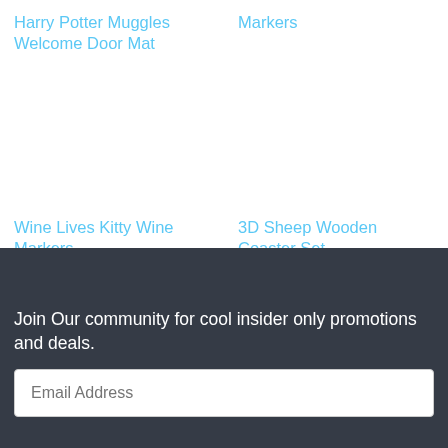Harry Potter Muggles Welcome Door Mat
Markers
Wine Lives Kitty Wine Markers
3D Sheep Wooden Coaster Set
Join Our community for cool insider only promotions and deals.